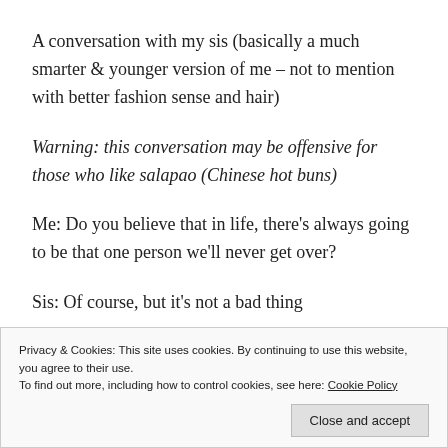A conversation with my sis (basically a much smarter & younger version of me – not to mention with better fashion sense and hair)
Warning: this conversation may be offensive for those who like salapao (Chinese hot buns)
Me: Do you believe that in life, there's always going to be that one person we'll never get over?
Sis: Of course, but it's not a bad thing
Privacy & Cookies: This site uses cookies. By continuing to use this website, you agree to their use.
To find out more, including how to control cookies, see here: Cookie Policy
Close and accept